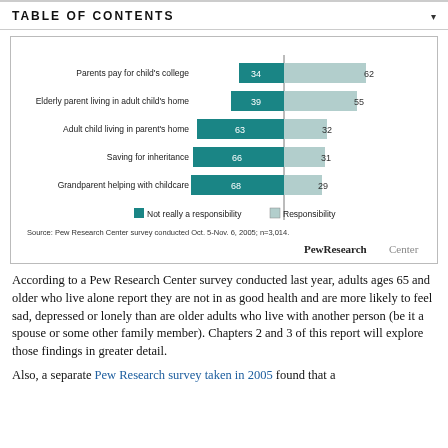TABLE OF CONTENTS
[Figure (grouped-bar-chart): Family Responsibilities: "Not really" vs "Responsibility"]
According to a Pew Research Center survey conducted last year, adults ages 65 and older who live alone report they are not in as good health and are more likely to feel sad, depressed or lonely than are older adults who live with another person (be it a spouse or some other family member). Chapters 2 and 3 of this report will explore those findings in greater detail.
Also, a separate Pew Research survey taken in 2005 found that a